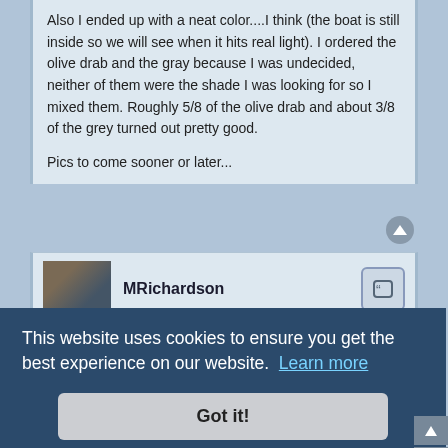Also I ended up with a neat color....I think (the boat is still inside so we will see when it hits real light). I ordered the olive drab and the gray because I was undecided, neither of them were the shade I was looking for so I mixed them. Roughly 5/8 of the olive drab and about 3/8 of the grey turned out pretty good.
Pics to come sooner or later...
MRichardson
everything steelflex
28 Mar 2012, 14:36
I have a 12 foot rooted is hull...what steel hex would I need
1 gallon is more than enough for the exterior. 1 gallon come in 2 ½-gallon containers (1 for each part).
The regular stuff is by far the most preferred (on here, anyway).
This website uses cookies to ensure you get the best experience on our website.  Learn more
Got it!